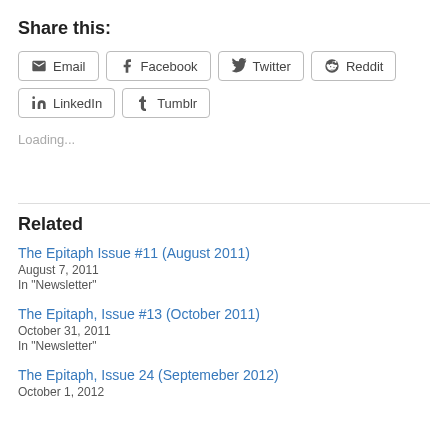Share this:
Email  Facebook  Twitter  Reddit  LinkedIn  Tumblr
Loading...
Related
The Epitaph Issue #11 (August 2011)
August 7, 2011
In "Newsletter"
The Epitaph, Issue #13 (October 2011)
October 31, 2011
In "Newsletter"
The Epitaph, Issue 24 (Septemeber 2012)
October 1, 2012